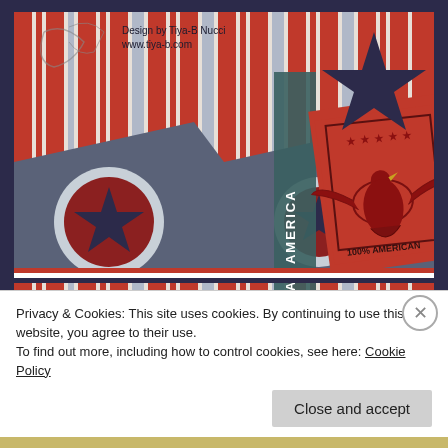[Figure (illustration): Patriotic American-themed handmade greeting card with red, white and blue striped background, navy blue pennant banners with stars, vertical teal AMERICA text ribbon, red square with eagle stamp reading '100% AMERICAN', large navy star cutout top right, red/white/blue ribbon border. Designer watermark: 'Design by Tiya-B Nucci, www.tiya-b.com']
Privacy & Cookies: This site uses cookies. By continuing to use this website, you agree to their use.
To find out more, including how to control cookies, see here: Cookie Policy
Close and accept